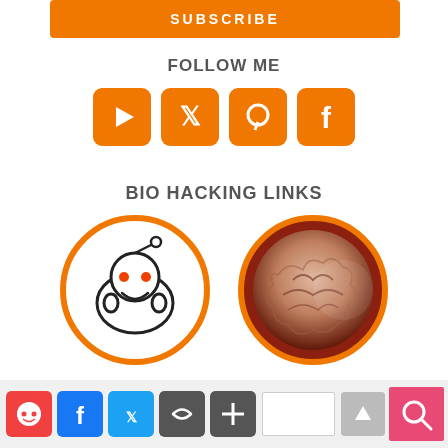[Figure (illustration): Orange SUBSCRIBE button]
FOLLOW ME
[Figure (infographic): Four orange social media icon buttons: YouTube, Twitter, Pinterest, Facebook]
BIO HACKING LINKS
[Figure (illustration): Two circular icons: Reddit alien logo with orange border, and a brain image with orange border]
[Figure (infographic): Footer bar with Reddit, Facebook, Twitter, Link, Plus social share icons, a search input, a pink search button, and a grey scroll-to-top arrow button]